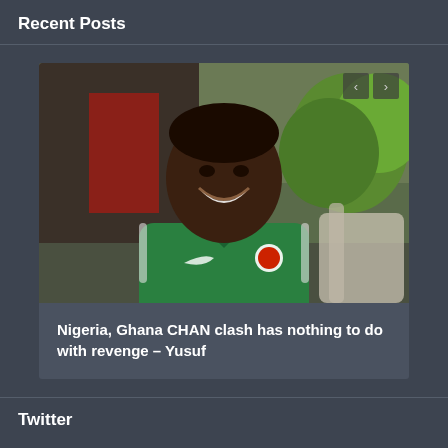Recent Posts
[Figure (photo): A smiling man wearing a green Nigeria national team Nike polo shirt, sitting outdoors with greenery in the background. Carousel navigation arrows visible at top right.]
Nigeria, Ghana CHAN clash has nothing to do with revenge – Yusuf
Twitter
Dear Copilot, what is Copilot? https://t.co/ZhL7am6X3D